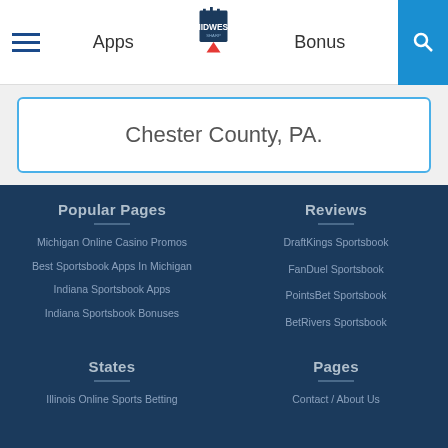Apps | Midwest Sharp | Bonus
Chester County, PA.
Popular Pages
Michigan Online Casino Promos
Best Sportsbook Apps In Michigan
Indiana Sportsbook Apps
Indiana Sportsbook Bonuses
Reviews
DraftKings Sportsbook
FanDuel Sportsbook
PointsBet Sportsbook
BetRivers Sportsbook
States
Illinois Online Sports Betting
Pages
Contact / About Us